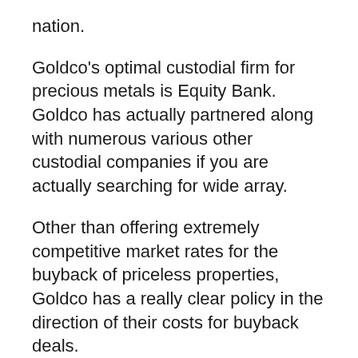nation.
Goldco's optimal custodial firm for precious metals is Equity Bank. Goldco has actually partnered along with numerous various other custodial companies if you are actually searching for wide array.
Other than offering extremely competitive market rates for the buyback of priceless properties, Goldco has a really clear policy in the direction of their costs for buyback deals.
At the same time, their clients do not must sell back their metals to Goldco, also when nearing retirement life.
Straight Acquisitions For Gold, Silver, And